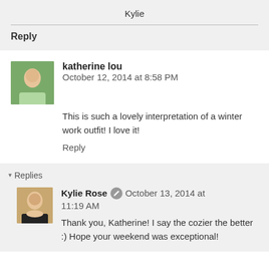Kylie
Reply
katherine lou  October 12, 2014 at 8:58 PM
This is such a lovely interpretation of a winter work outfit! I love it!
Reply
▾ Replies
Kylie Rose  October 13, 2014 at 11:19 AM
Thank you, Katherine! I say the cozier the better :) Hope your weekend was exceptional!